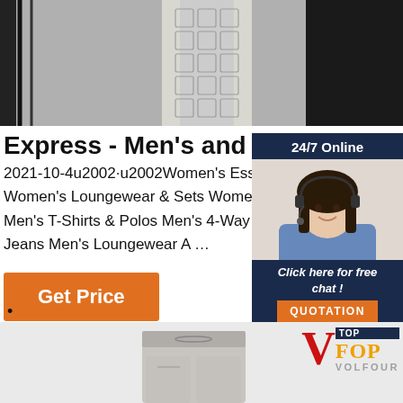[Figure (photo): Top section showing hanging clothing items on a rack, black and white/grey tones, including patterned fabric]
Express - Men's and Women's Clothing
2021-10-4u2002·u2002Women's Essentials Women's Loungewear & Sets Women's S Men's T-Shirts & Polos Men's 4-Way Hyp Jeans Men's Loungewear A ...
[Figure (infographic): 24/7 Online chat support widget with a photo of a woman wearing a headset, and a 'Click here for free chat!' label with a QUOTATION button]
•
[Figure (photo): Bottom section showing light grey/beige lounge pants and the Volfour logo (V-TOP VOLFOUR brand)]